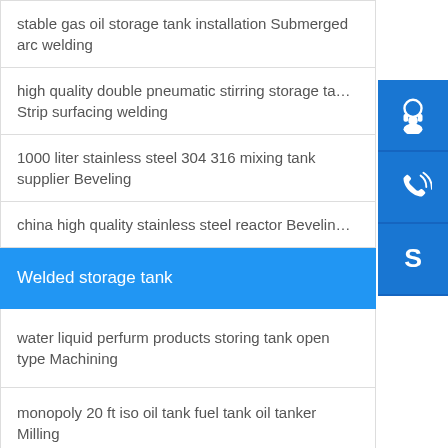stable gas oil storage tank installation Submerged arc welding
high quality double pneumatic stirring storage tank Strip surfacing welding
1000 liter stainless steel 304 316 mixing tank supplier Beveling
china high quality stainless steel reactor Beveling
Welded storage tank
water liquid perfurm products storing tank open type Machining
monopoly 20 ft iso oil tank fuel tank oil tanker Milling